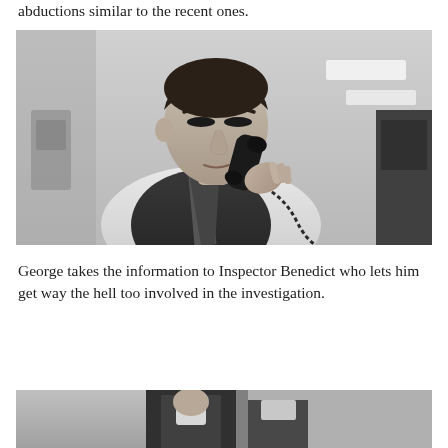abductions similar to the recent ones.
[Figure (photo): Black and white photo of a young man in a vest and tie talking on a telephone, looking downward, in an indoor setting.]
George takes the information to Inspector Benedict who lets him get way the hell too involved in the investigation.
[Figure (photo): Black and white photo, partially visible at the bottom of the page, showing a person in formal attire.]